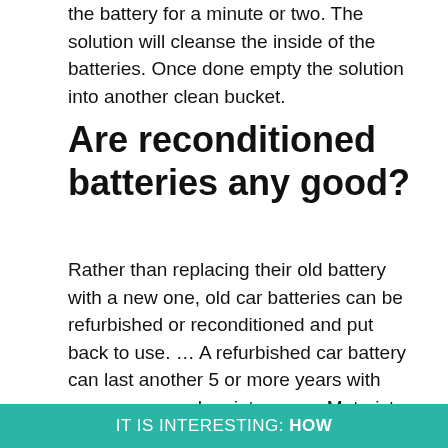the battery for a minute or two. The solution will cleanse the inside of the batteries. Once done empty the solution into another clean bucket.
Are reconditioned batteries any good?
Rather than replacing their old battery with a new one, old car batteries can be refurbished or reconditioned and put back to use. … A refurbished car battery can last another 5 or more years with proper care and maintenance. Motorists are consistently looking to cut back on the maintenance costs of their vehicle.
IT IS INTERESTING: How